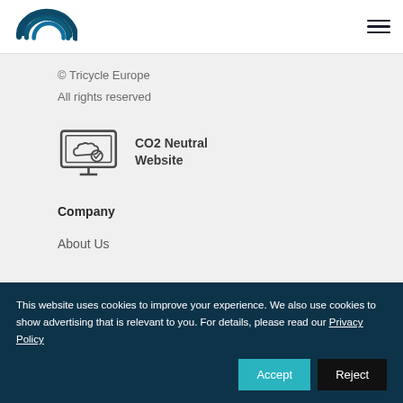[Figure (logo): Tricycle Europe logo — dark teal circular arc icon]
© Tricycle Europe
All rights reserved
[Figure (illustration): CO2 Neutral Website badge icon — monitor with cloud and checkmark]
Company
About Us
This website uses cookies to improve your experience. We also use cookies to show advertising that is relevant to you. For details, please read our Privacy Policy